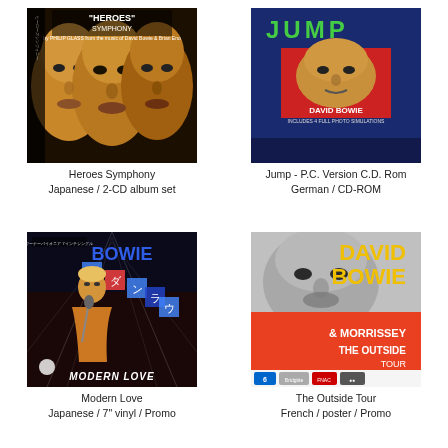[Figure (photo): Heroes Symphony album cover - Japanese 2-CD album set by Philip Glass from the music of David Bowie and Brian Eno, showing three faces]
Heroes Symphony
Japanese / 2-CD album set
[Figure (photo): Jump - P.C. Version C.D. Rom cover - German CD-ROM, David Bowie, blue and red cover]
Jump - P.C. Version C.D. Rom
German / CD-ROM
[Figure (photo): Modern Love album cover - Japanese 7 inch vinyl Promo, David Bowie performing on stage with Japanese text]
Modern Love
Japanese / 7" vinyl / Promo
[Figure (photo): The Outside Tour poster - French Promo, David Bowie and Morrissey, yellow and red poster]
The Outside Tour
French / poster / Promo